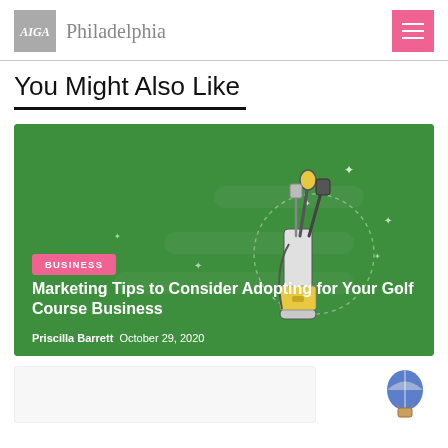AIGA Philadelphia
You Might Also Like
[Figure (illustration): Golf course business article card with green background, golf bag and clubs illustration, BUSINESS badge in pink, title 'Marketing Tips to Consider Adopting for Your Golf Course Business', author Priscilla Barrett, date October 29, 2020]
[Figure (illustration): Partial bottom card with hot air balloon icon on right side]